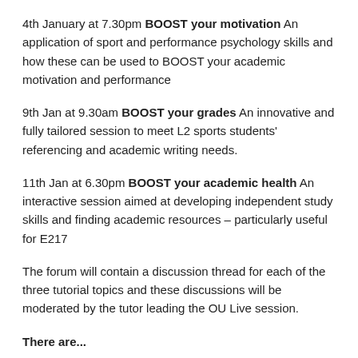4th January at 7.30pm BOOST your motivation An application of sport and performance psychology skills and how these can be used to BOOST your academic motivation and performance
9th Jan at 9.30am BOOST your grades An innovative and fully tailored session to meet L2 sports students' referencing and academic writing needs.
11th Jan at 6.30pm BOOST your academic health An interactive session aimed at developing independent study skills and finding academic resources – particularly useful for E217
The forum will contain a discussion thread for each of the three tutorial topics and these discussions will be moderated by the tutor leading the OU Live session.
There are...